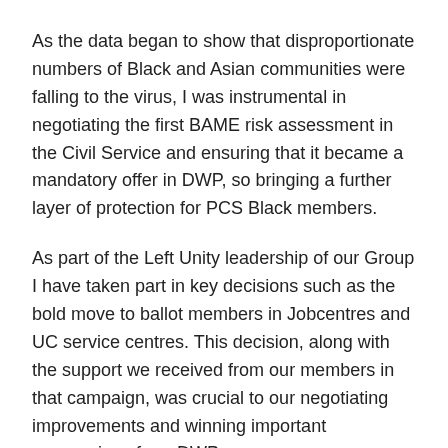As the data began to show that disproportionate numbers of Black and Asian communities were falling to the virus, I was instrumental in negotiating the first BAME risk assessment in the Civil Service and ensuring that it became a mandatory offer in DWP, so bringing a further layer of protection for PCS Black members.
As part of the Left Unity leadership of our Group I have taken part in key decisions such as the bold move to ballot members in Jobcentres and UC service centres. This decision, along with the support we received from our members in that campaign, was crucial to our negotiating improvements and winning important concessions from DWP.
We still have many challenges ahead, but I know an elected Left Unity leadership will continue to keep our